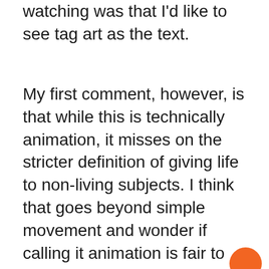watching was that I'd like to see tag art as the text.
My first comment, however, is that while this is technically animation, it misses on the stricter definition of giving life to non-living subjects. I think that goes beyond simple movement and wonder if calling it animation is fair to those who are animators. Just a thought. Next, whether the text adds to or detracts from Marshall's